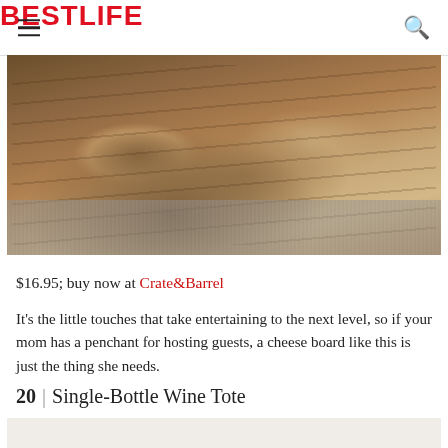BestLife
[Figure (photo): Close-up photo of a rustic wooden cheese board (likely olive wood) with natural grain patterns, resting on a grey fabric surface]
$16.95; buy now at Crate&Barrel
It's the little touches that take entertaining to the next level, so if your mom has a penchant for hosting guests, a cheese board like this is just the thing she needs.
20 | Single-Bottle Wine Tote
[Figure (photo): Bottom portion of next section photo, partially visible]